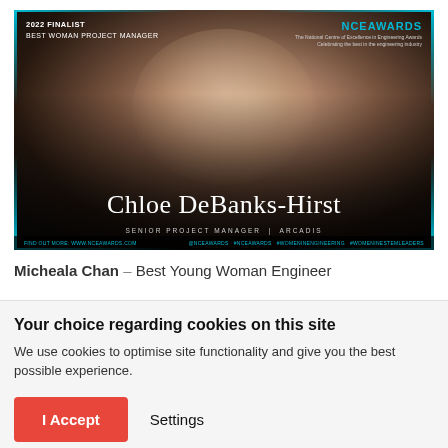[Figure (photo): Award finalist card for Chloe DeBanks-Hirst. Dark background with a smiling woman with brown hair. Top-left badge reads '2022 FINALIST / BEST WOMAN PROJECT MANAGER'. Top-right shows 'NCEAWARDS' logo. Center bottom shows her name 'Chloe DeBanks-Hirst' and title 'SENIOR PROJECT MANAGER | ARCADIS'. Aqua/teal border accents. Bottom bar has website and social media links in teal.]
Micheala Chan – Best Young Woman Engineer
Your choice regarding cookies on this site
We use cookies to optimise site functionality and give you the best possible experience.
I Accept    Settings